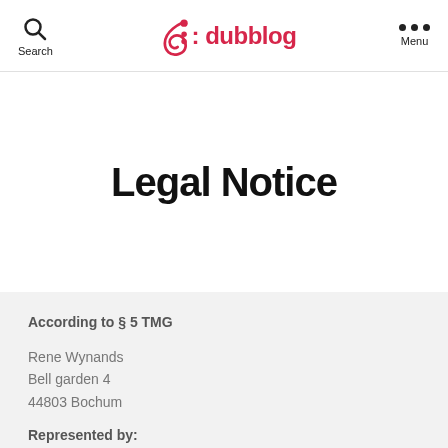Search | dubblog | Menu
Legal Notice
According to § 5 TMG
Rene Wynands
Bell garden 4
44803 Bochum
Represented by: